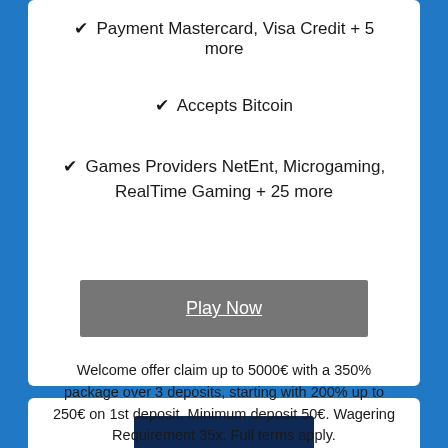✔ Payment Mastercard, Visa Credit + 5 more
✔ Accepts Bitcoin
✔ Games Providers NetEnt, Microgaming, RealTime Gaming + 25 more
Play Now
Welcome offer claim up to 5000€ with a 350% package over 3 deposits, starting with 200% up to 250€ on 1st deposit. Minimum deposit 50€. Wagering Requirement 35x. Full terms apply.